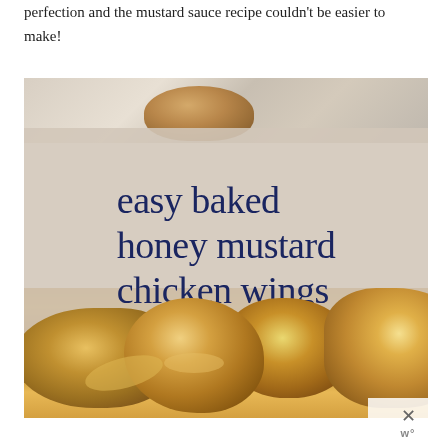perfection and the mustard sauce recipe couldn't be easier to make!
[Figure (photo): Photo of baked honey mustard chicken wings with text overlay reading 'easy baked honey mustard chicken wings' in dark navy blue on a beige/tan background overlay, with golden glazed chicken wings visible in the lower portion of the image.]